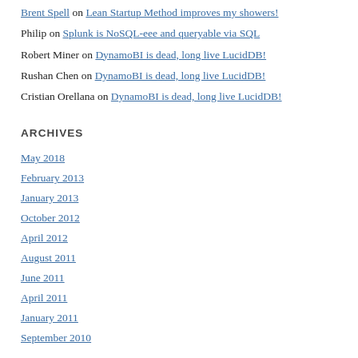Brent Spell on Lean Startup Method improves my showers!
Philip on Splunk is NoSQL-eee and queryable via SQL
Robert Miner on DynamoBI is dead, long live LucidDB!
Rushan Chen on DynamoBI is dead, long live LucidDB!
Cristian Orellana on DynamoBI is dead, long live LucidDB!
ARCHIVES
May 2018
February 2013
January 2013
October 2012
April 2012
August 2011
June 2011
April 2011
January 2011
September 2010